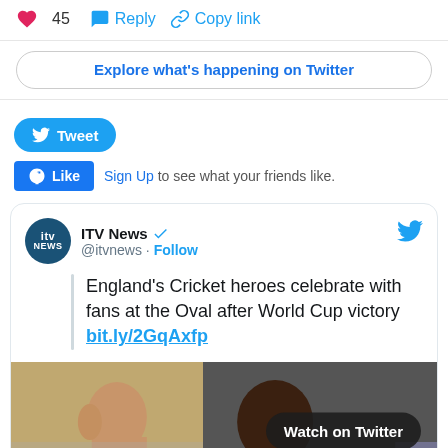45  Reply  Copy link
Explore what's happening on Twitter
Tweet
Like  Sign Up to see what your friends like.
[Figure (screenshot): Embedded ITV News tweet: 'England's Cricket heroes celebrate with fans at the Oval after World Cup victory bit.ly/2GqAxfp' with a video thumbnail showing a Watch on Twitter button.]